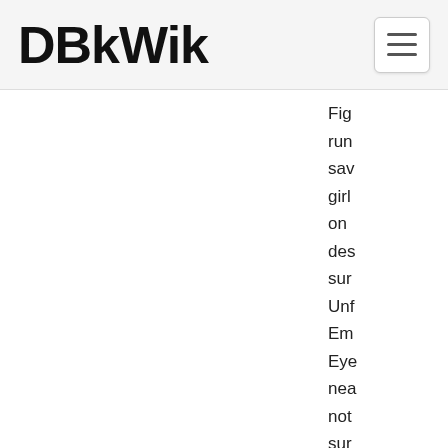DBkWik
Fig
run
sav
girl
on 
des
sur
Unf
Em
Eye
nea
not
sur
hon
Rip
Boo
wa
a b
Rip
taki